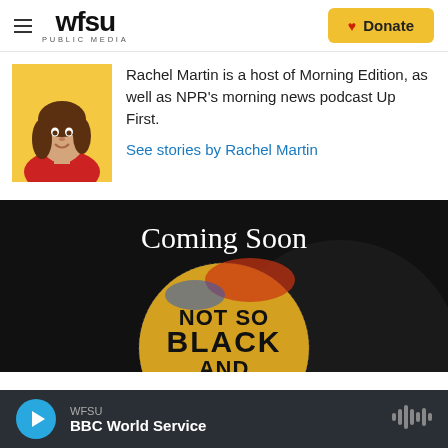WFSU PUBLIC MEDIA
[Figure (photo): Photo of Rachel Martin, smiling, wearing a red top, against a yellow background]
Rachel Martin is a host of Morning Edition, as well as NPR's morning news podcast Up First.
See stories by Rachel Martin
[Figure (photo): Promotional image for 'Coming Soon: NOT SO BLACK AND ...' podcast, dark background with colorful circular graphic]
WFSU BBC World Service